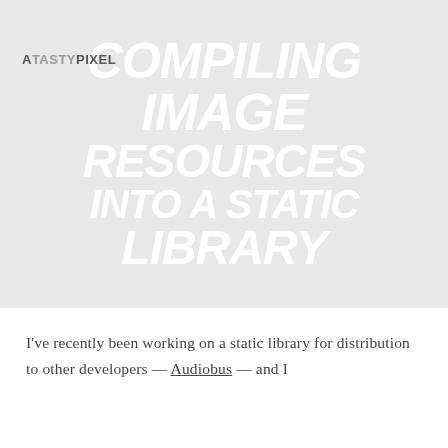ATASTYPIXEL
COMPILING IMAGE RESOURCES INTO A STATIC LIBRARY
I've recently been working on a static library for distribution to other developers — Audiobus — and I